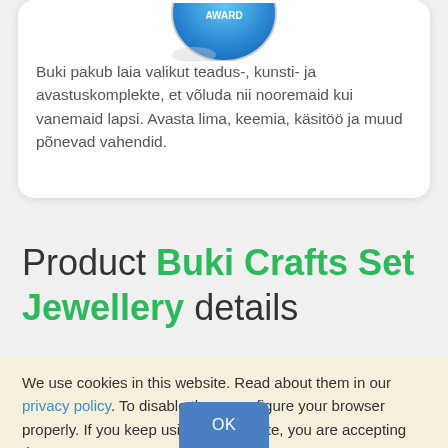[Figure (logo): Buki award badge — blue circular emblem with white text, partially visible at top of card]
Buki pakub laia valikut teadus-, kunsti- ja avastuskomplekte, et võluda nii nooremaid kui vanemaid lapsi. Avasta lima, keemia, käsitöö ja muud põnevad vahendid.
Product Buki Crafts Set Jewellery details
We use cookies in this website. Read about them in our privacy policy. To disable them, configure your browser properly. If you keep using this website, you are accepting those.